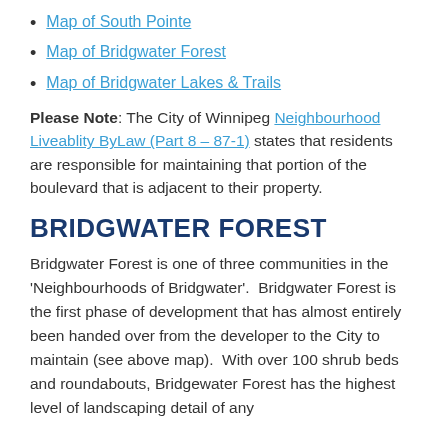Map of South Pointe
Map of Bridgwater Forest
Map of Bridgwater Lakes & Trails
Please Note: The City of Winnipeg Neighbourhood Liveablity ByLaw (Part 8 – 87-1) states that residents are responsible for maintaining that portion of the boulevard that is adjacent to their property.
BRIDGWATER FOREST
Bridgwater Forest is one of three communities in the ‘Neighbourhoods of Bridgwater’.  Bridgwater Forest is the first phase of development that has almost entirely been handed over from the developer to the City to maintain (see above map).  With over 100 shrub beds and roundabouts, Bridgewater Forest has the highest level of landscaping detail of any development in the City of Winnipeg. To date the